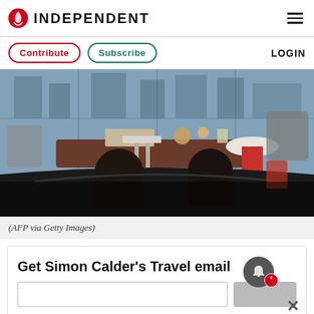INDEPENDENT
Contribute  Subscribe  LOGIN
[Figure (photo): Two people seated at a table in a high-rise restaurant with floor-to-ceiling windows, viewed from behind, with food and drinks on the table]
(AFP via Getty Images)
Get Simon Calder's Travel email